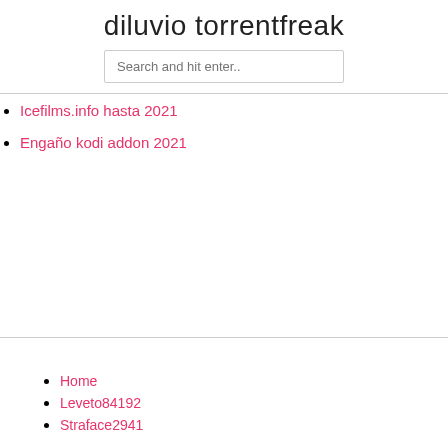diluvio torrentfreak
Search and hit enter..
Icefilms.info hasta 2021
Engaño kodi addon 2021
Home
Leveto84192
Straface2941